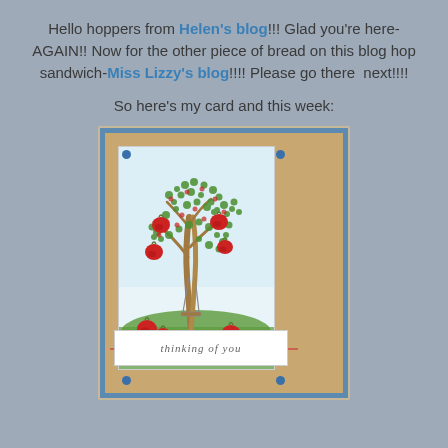Hello hoppers from Helen's blog!!! Glad you're here-AGAIN!! Now for the other piece of bread on this blog hop sandwich-Miss Lizzy's blog!!!! Please go there next!!!!
So here's my card and this week:
[Figure (photo): A handmade greeting card featuring a stamped apple tree with red apples and green foliage, a rope swing hanging from a branch, red apples on green grass at the base, on a white card stock. Mounted on a kraft mat with a blue textured border panel showing birch trees on the right side. A white sentiment strip reads 'thinking of you' with a red ribbon bow. Blue brad embellishments in the corners.]